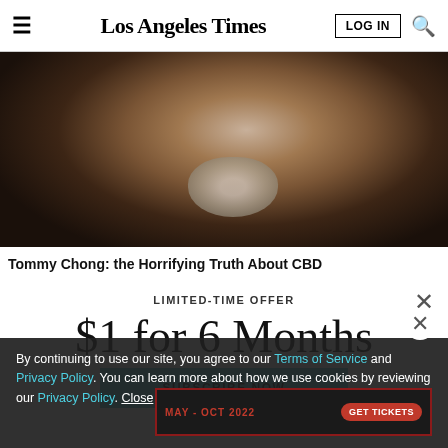Los Angeles Times
[Figure (photo): Close-up photo of an older man with a white beard, dark clothing, against a dark background]
Tommy Chong: the Horrifying Truth About CBD
LIMITED-TIME OFFER
$1 for 6 Months
SUBSCRIBE NOW
By continuing to use our site, you agree to our Terms of Service and Privacy Policy. You can learn more about how we use cookies by reviewing our Privacy Policy. Close